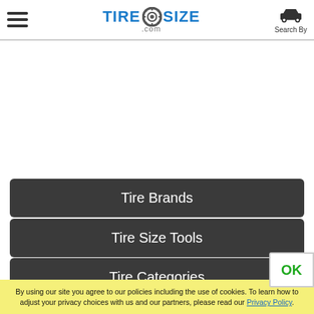TIRESIZE.com — Search By
Tire Brands
Tire Size Tools
Tire Categories
By using our site you agree to our policies including the use of cookies. To learn how to adjust your privacy choices with us and our partners, please read our Privacy Policy.
OK